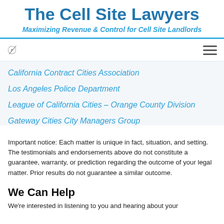The Cell Site Lawyers
Maximizing Revenue & Control for Cell Site Landlords
California Contract Cities Association
Los Angeles Police Department
League of California Cities – Orange County Division
Gateway Cities City Managers Group
Important notice: Each matter is unique in fact, situation, and setting. The testimonials and endorsements above do not constitute a guarantee, warranty, or prediction regarding the outcome of your legal matter. Prior results do not guarantee a similar outcome.
We Can Help
We're interested in listening to you and hearing about your